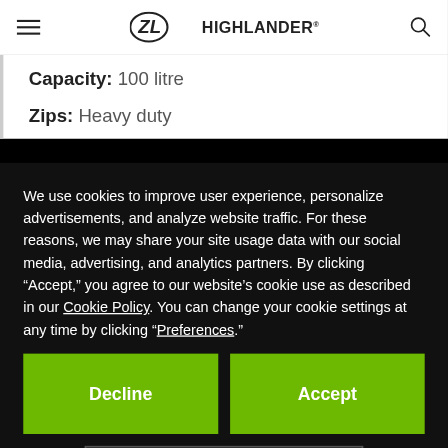Highlander (logo)
Capacity: 100 litre
Zips: Heavy duty
We use cookies to improve user experience, personalize advertisements, and analyze website traffic. For these reasons, we may share your site usage data with our social media, advertising, and analytics partners. By clicking “Accept,” you agree to our website’s cookie use as described in our Cookie Policy. You can change your cookie settings at any time by clicking “Preferences.”
Decline
Accept
Preferences